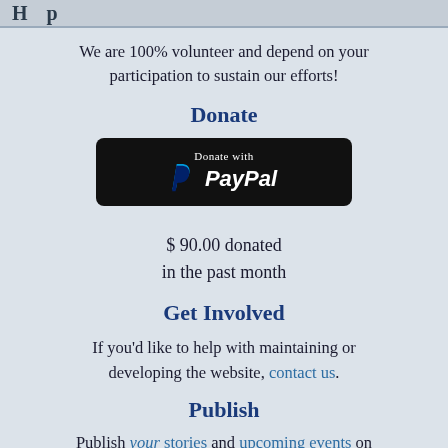H p
We are 100% volunteer and depend on your participation to sustain our efforts!
Donate
[Figure (logo): Donate with PayPal button — black rounded rectangle with PayPal logo and text]
$ 90.00 donated in the past month
Get Involved
If you'd like to help with maintaining or developing the website, contact us.
Publish
Publish your stories and upcoming events on